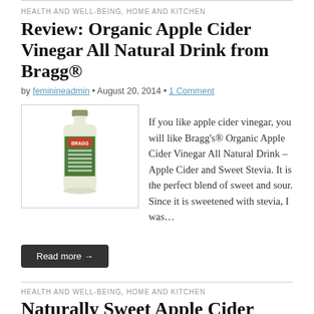HEALTH AND WELL-BEING, HOME AND KITCHEN
Review: Organic Apple Cider Vinegar All Natural Drink from Bragg®
by feminineadmin • August 20, 2014 • 1 Comment
[Figure (photo): A bottle of Bragg Organic Apple Cider Vinegar All Natural Drink with green label]
If you like apple cider vinegar, you will like Bragg's® Organic Apple Cider Vinegar All Natural Drink – Apple Cider and Sweet Stevia. It is the perfect blend of sweet and sour. Since it is sweetened with stevia, I was…
Read more →
HEALTH AND WELL-BEING, HOME AND KITCHEN
Naturally Sweet Apple Cider Vinegar